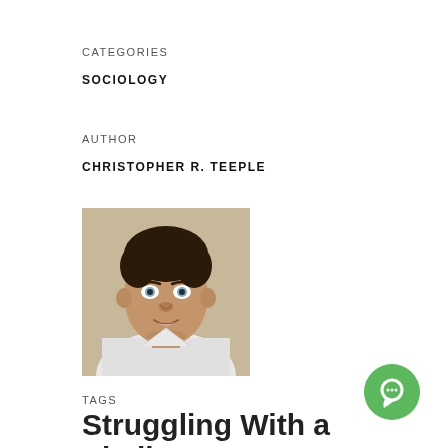CATEGORIES
SOCIOLOGY
AUTHOR
CHRISTOPHER R. TEEPLE
[Figure (photo): Headshot of a young man with dark hair wearing a white shirt, looking at the camera with a slight smile.]
TAGS
[Figure (other): Green circular chat/messaging icon button in the bottom right corner.]
Struggling With a Similar...